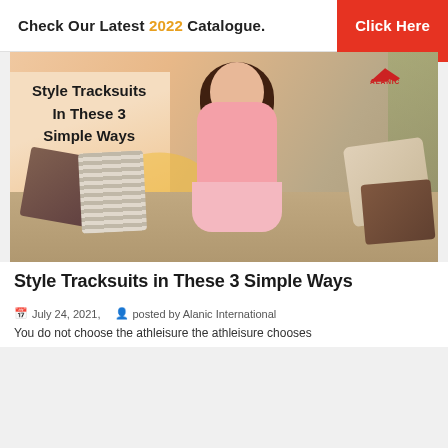Check Our Latest 2022 Catalogue. Click Here
[Figure (photo): A woman in a pink tracksuit sitting cross-legged on a beige sofa holding a phone, with overlay text reading 'Style Tracksuits In These 3 Simple Ways' and Alanic logo in top right corner]
Style Tracksuits in These 3 Simple Ways
July 24, 2021,  posted by Alanic International
You do not choose the athleisure the athleisure chooses